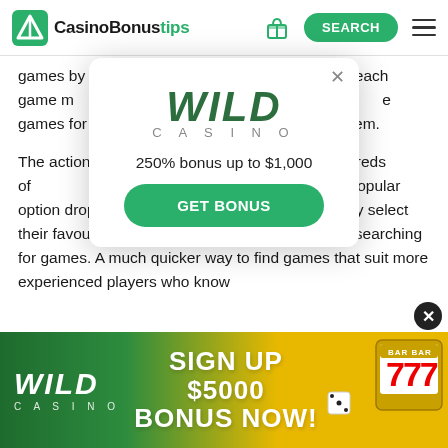CasinoBonustips — SEARCH
games by type, which ave to search each game m ar. The good thing is that e games for free and de real money on them.
The action takes place e there are hundreds of ry's top providers. There is a handy, popular option drop-down menu so that players can easily select their favourite providers if they want to save time searching for games. A much quicker way to find games that suit more experienced players who know
[Figure (screenshot): Wild Casino popup modal showing logo, 250% bonus up to $1,000 text, and GET BONUS button]
[Figure (screenshot): Wild Casino bottom banner advertisement: SIGN UP $5000 BONUS NOW! with slot machine imagery]